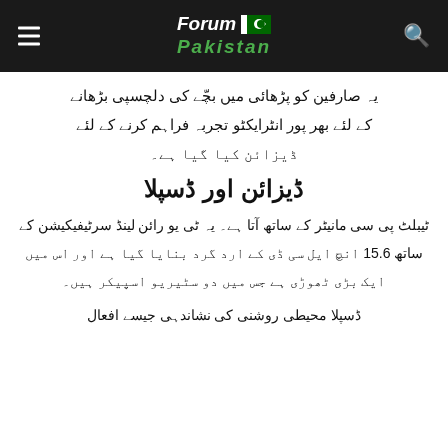Forum Pakistan
یہ صارفین کو پڑھائی میں بچّے کی دلچسپی بڑھانے کے لئے بھر پور انٹرایکٹو تجربہ فراہم کرنے کے لئے ڈیزائن کیا گیا ہے۔
ڈیزائن اور ڈسپلا
ٹیبلٹ پی سی مانیٹر کے ساتھ آتا ہے۔ یہ ٹی وی رائن لینڈ سرٹیفیکیشن کے ساتھ 15.6 انچ ایل سی ڈی کے ارد گرد بنایا گیا ہے اور اس میں ایک بڑی ٹھوڑی ہے جس میں دو سٹیریو اسپیکر ہیں۔
ڈسپلا محیطی روشنی کی نشاندہی جیسے افعال